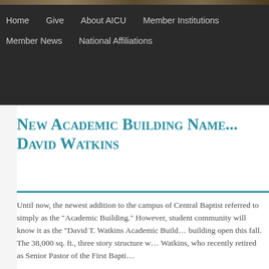Home | Give | About AICU | Member Institutions | Member News | National Affiliations
New Academic Building Named David Watkins
Until now, the newest addition to the campus of Central Baptist referred to simply as the "Academic Building." However, student community will know it as the "David T. Watkins Academic Build building open this fall. The 38,000 sq. ft., three story structure w Watkins, who recently retired as Senior Pastor of the First Bapti
[Figure (photo): Portrait photograph of David Watkins, a man with dark hair wearing a dark suit, against a warm brownish-gold background]